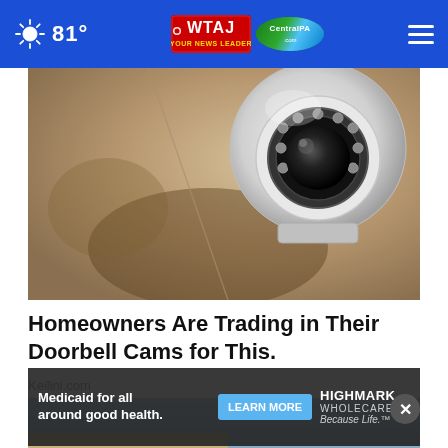81° | WTAJ | CentralPA.com
[Figure (photo): A white dome security camera mounted on a beige/tan textured wall, close-up shot showing the camera lens and housing.]
Homeowners Are Trading in Their Doorbell Cams for This.
Keilini.com
[Figure (photo): Partial bottom image of an outdoor scene with an advertisement overlay for Highmark Wholecare Medicaid.]
Medicaid for all around good health. LEARN MORE HIGHMARK WHOLECARE Because Life.